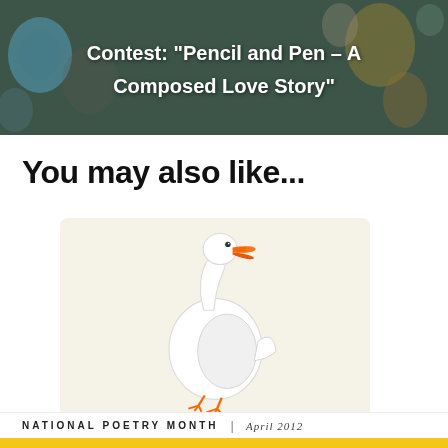[Figure (photo): Banner image with colorful eggs/marbles background and white bold text reading: Contest: "Pencil and Pen – A Composed Love Story"]
You may also like...
[Figure (illustration): Illustration of a white goose/duck with an orange beak and orange feet, standing and looking to the left, on a light beige background.]
NATIONAL POETRY MONTH  |  April 2012